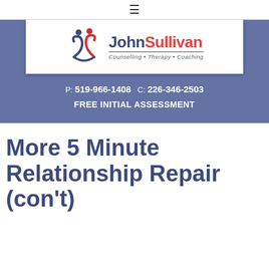≡
[Figure (logo): John Sullivan Counselling Therapy Coaching logo with two abstract figures forming a heart shape]
P: 519-966-1408   C: 226-346-2503
FREE INITIAL ASSESSMENT
More 5 Minute Relationship Repair (con't)